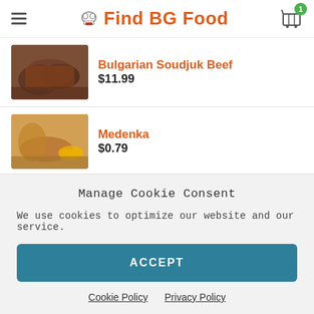Find BG Food
Bulgarian Soudjuk Beef
$11.99
Medenka
$0.79
Lukanka Karlovo
$15.99
Manage Cookie Consent
We use cookies to optimize our website and our service.
ACCEPT
Cookie Policy  Privacy Policy